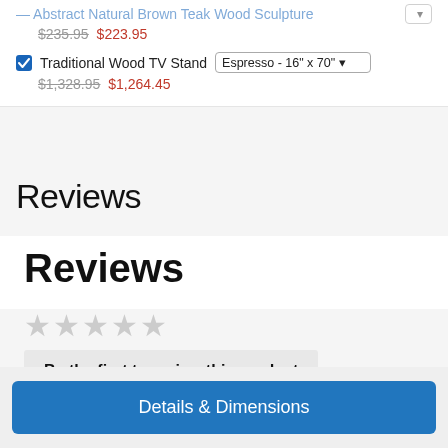Abstract Natural Brown Teak Wood Sculpture — $235.95 $223.95
Traditional Wood TV Stand — Espresso - 16" x 70" — $1,328.95 $1,264.45
Reviews
Reviews
★★★★★ (empty stars)
Be the first to review this product
Details & Dimensions